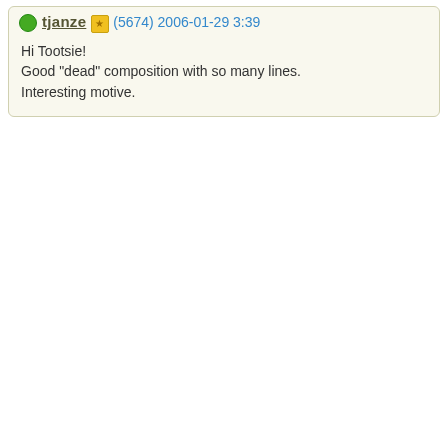tjanze (5674) 2006-01-29 3:39
Hi Tootsie!
Good "dead" composition with so many lines.
Interesting motive.